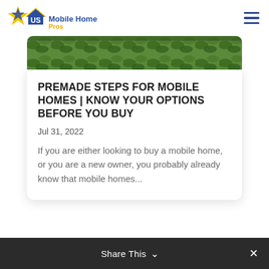US Mobile Home Pros
[Figure (photo): Outdoor greenery/nature photo strip at top of article card]
PREMADE STEPS FOR MOBILE HOMES | KNOW YOUR OPTIONS BEFORE YOU BUY
Jul 31, 2022
If you are either looking to buy a mobile home, or you are a new owner, you probably already know that mobile homes...
Share This ✕